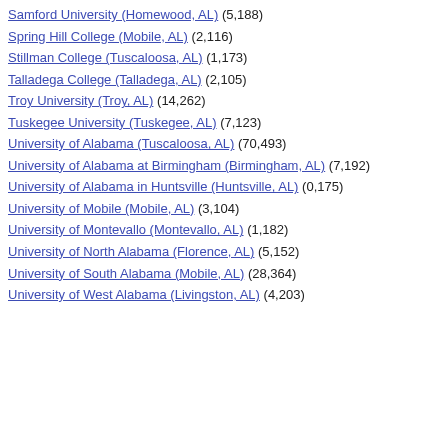Samford University (Homewood, AL) (5,188)
Spring Hill College (Mobile, AL) (2,116)
Stillman College (Tuscaloosa, AL) (1,173)
Talladega College (Talladega, AL) (2,105)
Troy University (Troy, AL) (14,262)
Tuskegee University (Tuskegee, AL) (7,123)
University of Alabama (Tuscaloosa, AL) (70,493)
University of Alabama at Birmingham (Birmingham, AL) (7,192)
University of Alabama in Huntsville (Huntsville, AL) (0,175)
University of Mobile (Mobile, AL) (3,104)
University of Montevallo (Montevallo, AL) (1,182)
University of North Alabama (Florence, AL) (5,152)
University of South Alabama (Mobile, AL) (28,364)
University of West Alabama (Livingston, AL) (4,203)